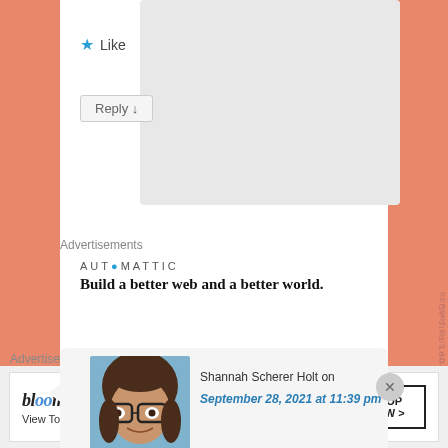[Figure (screenshot): Like button with blue star icon and 'Like' text]
[Figure (screenshot): Reply button with downward arrow]
Advertisements
[Figure (logo): Automattic logo with tagline: Build a better web and a better world.]
Build a better web and a better world.
[Figure (photo): Avatar photo of Shannah Scherer Holt, a woman with glasses and brown hair]
Shannah Scherer Holt on
September 28, 2021 at 11:39 pm
Advertisements
[Figure (screenshot): Bloomingdales advertisement banner: View Today's Top Deals! SHOP NOW >]